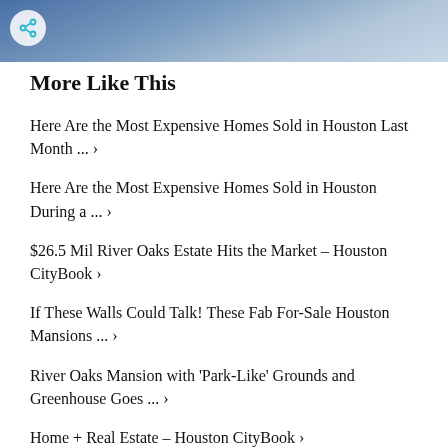[Figure (photo): Aerial or architectural photo with blue tones, partially visible at top of page. Share button icon visible in top-left corner.]
More Like This
Here Are the Most Expensive Homes Sold in Houston Last Month ... ›
Here Are the Most Expensive Homes Sold in Houston During a ... ›
$26.5 Mil River Oaks Estate Hits the Market – Houston CityBook ›
If These Walls Could Talk! These Fab For-Sale Houston Mansions ... ›
River Oaks Mansion with 'Park-Like' Grounds and Greenhouse Goes ... ›
Home + Real Estate – Houston CityBook ›
$10 Million Manse Hits the Market in Memorial – Houston CityBook ›